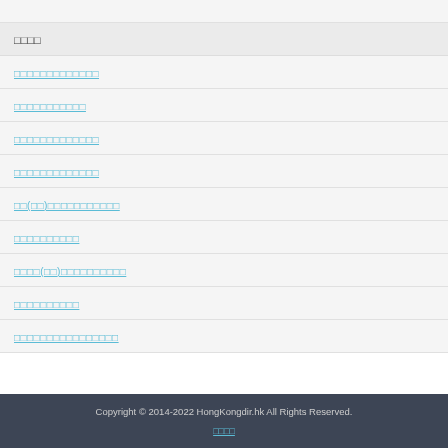□□□□
□□□□□□□□□□□□□
□□□□□□□□□□□
□□□□□□□□□□□□□
□□□□□□□□□□□□□
□□(□□)□□□□□□□□□□□
□□□□□□□□□□
□□□□(□□)□□□□□□□□□□
□□□□□□□□□□
□□□□□□□□□□□□□□□□
Copyright © 2014-2022 HongKongdir.hk All Rights Reserved. □□□□